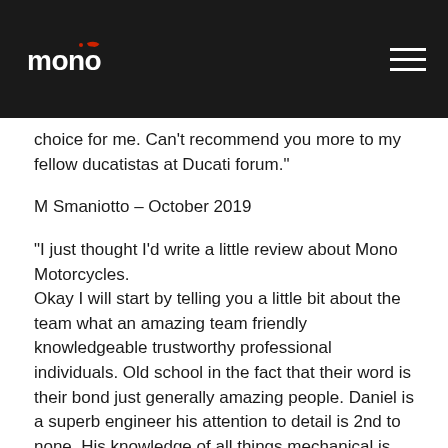Mono Motorcycles logo and navigation
choice for me. Can't recommend you more to my fellow ducatistas at Ducati forum."
M Smaniotto – October 2019
“I just thought I’d write a little review about Mono Motorcycles. Okay I will start by telling you a little bit about the team what an amazing team friendly knowledgeable trustworthy professional individuals. Old school in the fact that their word is their bond just generally amazing people. Daniel is a superb engineer his attention to detail is 2nd to none. His knowledge of all things mechanical is superb I can highly recommend him to be honest if he can't do it then it's probably impossible to do.